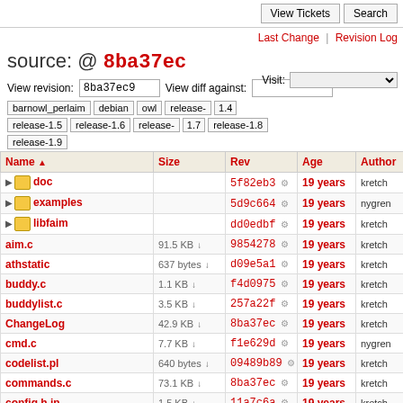View Tickets | Search
Last Change | Revision Log
source: @ 8ba37ec
View revision: 8ba37ec9   View diff against:
barnowl_perlaim  debian  owl  release-1.4  release-1.5  release-1.6  release-1.7  release-1.8  release-1.9  Visit:
| Name | Size | Rev | Age | Author | Last Cha… |
| --- | --- | --- | --- | --- | --- |
| doc |  | 5f82eb3 | 19 years | kretch | Updated r |
| examples |  | 5d9c664 | 19 years | nygren | fixed som |
| libfaim |  | dd0edbf | 19 years | kretch | *** empty |
| aim.c | 91.5 KB | 9854278 | 19 years | kretch | First pass |
| athstatic | 637 bytes | d09e5a1 | 19 years | kretch | Added lib |
| buddy.c | 1.1 KB | f4d0975 | 19 years | kretch | Fixed bug |
| buddylist.c | 3.5 KB | 257a22f | 19 years | kretch | Formattin |
| ChangeLog | 42.9 KB | 8ba37ec | 19 years | kretch | Fixed a b |
| cmd.c | 7.7 KB | f1e629d | 19 years | nygren | New API |
| codelist.pl | 640 bytes | 09489b89 | 19 years | kretch | First pass |
| commands.c | 73.1 KB | 8ba37ec | 19 years | kretch | Fixed a b |
| config.h.in | 1.5 KB | 11a7c6a | 19 years | kretch | Added #i |